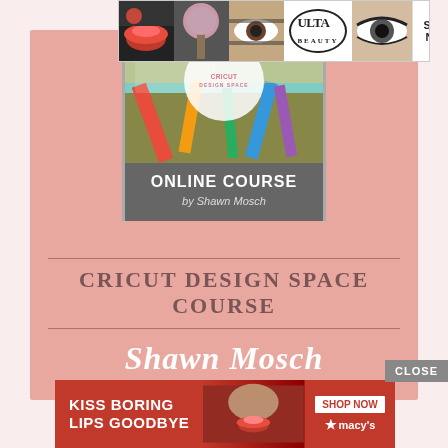[Figure (advertisement): ULTA Beauty banner advertisement with makeup photos, ULTA logo, and SHOP NOW button]
[Figure (illustration): Cricut Design Space Online Course by Shawn Mosch - course card graphic with circular logo on colorful background]
CRICUT DESIGN SPACE COURSE
Shawn Mosch
CLOSE
[Figure (advertisement): Macy's advertisement: KISS BORING LIPS GOODBYE with SHOP NOW button and Macy's star logo]